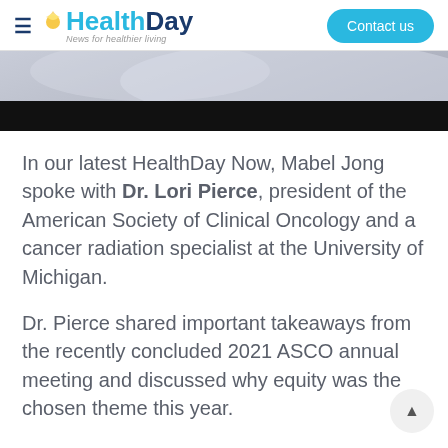HealthDay — News for healthier living | Contact us
[Figure (photo): Hero banner image: gray gradient blending into a black bar, typical website hero/video thumbnail area]
In our latest HealthDay Now, Mabel Jong spoke with Dr. Lori Pierce, president of the American Society of Clinical Oncology and a cancer radiation specialist at the University of Michigan.
Dr. Pierce shared important takeaways from the recently concluded 2021 ASCO annual meeting and discussed why equity was the chosen theme this year.